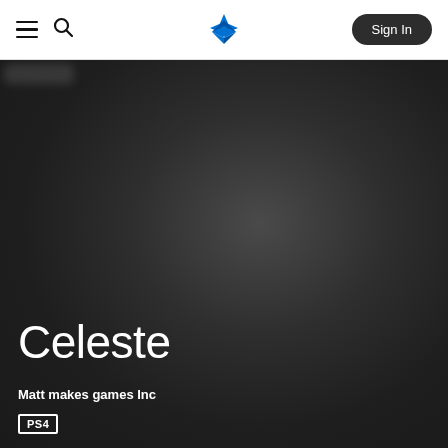PlayStation Store navigation bar with hamburger menu, search icon, PlayStation logo, and Sign In button
[Figure (screenshot): Dark radial gradient hero background image area for Celeste game page on PlayStation Store]
Celeste
Matt makes games Inc
PS4